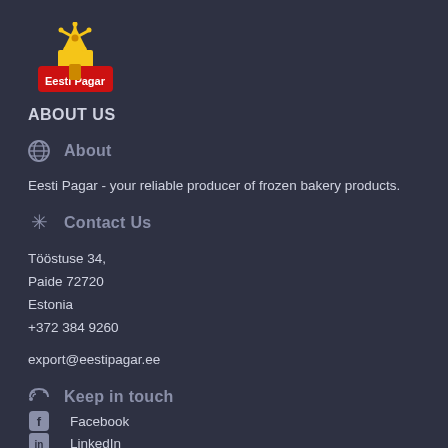[Figure (logo): Eesti Pagar logo with windmill icon on red banner and yellow windmill blades]
ABOUT US
About
Eesti Pagar - your reliable producer of frozen bakery products.
Contact Us
Tööstuse 34,
Paide 72720
Estonia
+372 384 9260
export@eestipagar.ee
Keep in touch
Facebook
LinkedIn
Instagram